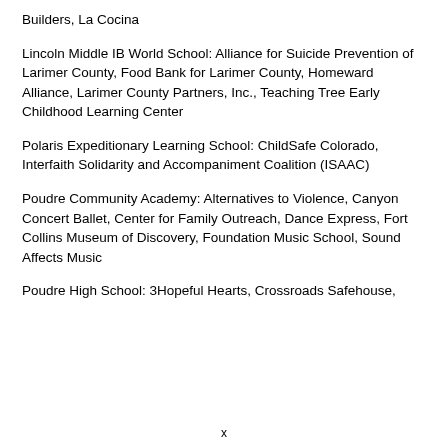Builders, La Cocina
Lincoln Middle IB World School: Alliance for Suicide Prevention of Larimer County, Food Bank for Larimer County, Homeward Alliance, Larimer County Partners, Inc., Teaching Tree Early Childhood Learning Center
Polaris Expeditionary Learning School: ChildSafe Colorado, Interfaith Solidarity and Accompaniment Coalition (ISAAC)
Poudre Community Academy: Alternatives to Violence, Canyon Concert Ballet, Center for Family Outreach, Dance Express, Fort Collins Museum of Discovery, Foundation Music School, Sound Affects Music
Poudre High School: 3Hopeful Hearts, Crossroads Safehouse,
x